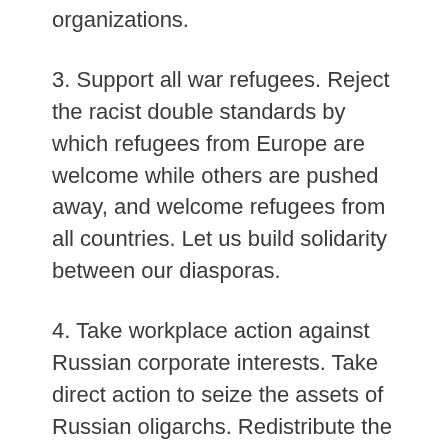organizations.
3. Support all war refugees. Reject the racist double standards by which refugees from Europe are welcome while others are pushed away, and welcome refugees from all countries. Let us build solidarity between our diasporas.
4. Take workplace action against Russian corporate interests. Take direct action to seize the assets of Russian oligarchs. Redistribute the wealth of oligarchs to the refugees of their wars.
5. Demand the forgiveness of Ukraine’s debt, and the debt of all former colonized nations.
6. Demand immediate action to prevent spiraling food insecurity in the global south, as a result of this war disrupting Russia and Ukraine’s crops. Meet the